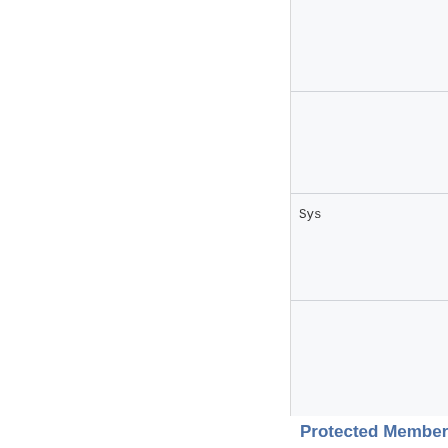|  |
|  |
| Sys |
|  |
| System::SharedPtr< MapiAt |
|  |
|  |
Protected Member